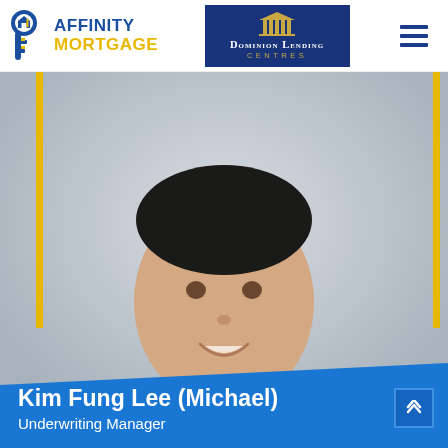[Figure (logo): Affinity Mortgage logo with house/key icon and two-tone text]
[Figure (logo): Dominion Lending Centres logo, dark blue background with white pillars icon and text]
[Figure (photo): Professional headshot of Kim Fung Lee (Michael), smiling, wearing dark suit and white shirt, light gray background, with yellow accent bars on left and right sides]
Kim Fung Lee (Michael)
Underwriting Manager